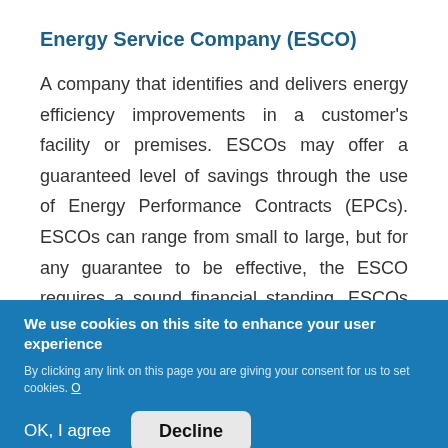Energy Service Company (ESCO)
A company that identifies and delivers energy efficiency improvements in a customer's facility or premises. ESCOs may offer a guaranteed level of savings through the use of Energy Performance Contracts (EPCs). ESCOs can range from small to large, but for any guarantee to be effective, the ESCO requires a sound financial standing. ESCOs are usually technology agnostic although some of the larger ones are part of equipment companies offering controls or other
We use cookies on this site to enhance your user experience
By clicking any link on this page you are giving your consent for us to set cookies. O
OK, I agree   Decline